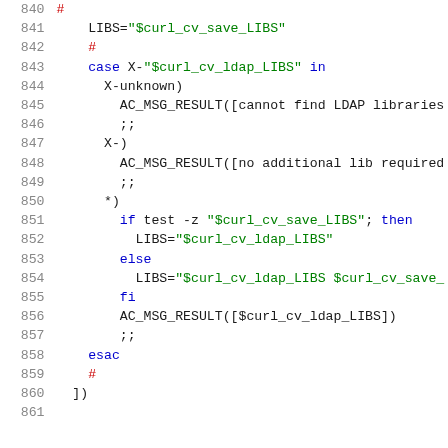Source code snippet lines 840-861, shell script with LDAP library detection logic